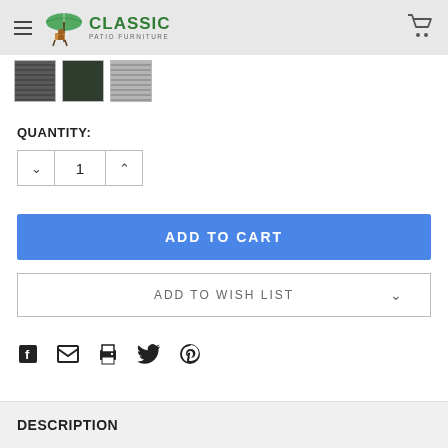Classic Patio Furniture
[Figure (photo): Three fabric color swatch thumbnails - dark ribbed texture, dark green/charcoal solid, and light grey texture]
QUANTITY:
1
ADD TO CART
ADD TO WISH LIST
[Figure (other): Social sharing icons: Facebook, Email, Print, Twitter, Pinterest]
DESCRIPTION